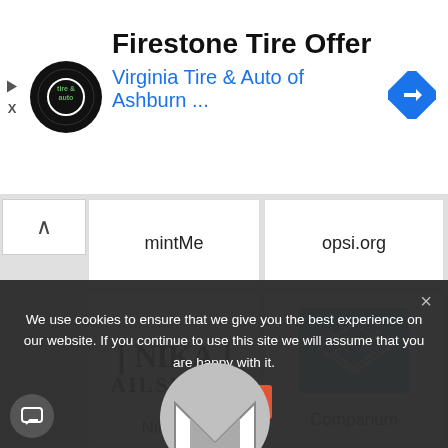[Figure (screenshot): Advertisement banner for Firestone Tire Offer from Virginia Tire & Auto of Ashburn with circular logo and blue navigation arrow icon]
mintMe
opsi.org
[Figure (logo): NikaMail logo with stylized figures and text NIKA MAILSERVE]
NikaMail
[Figure (logo): Comparium logo - blue square with white geometric envelope/diamond icon]
Comparium
We use cookies to ensure that we give you the best experience on our website. If you continue to use this site we will assume that you are happy with it.
Ok